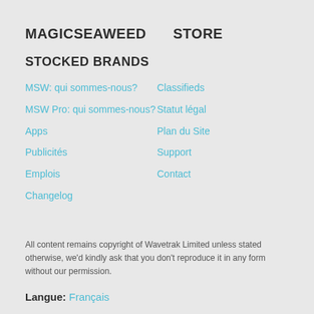MAGICSEAWEED
STORE
STOCKED BRANDS
MSW: qui sommes-nous?
Classifieds
MSW Pro: qui sommes-nous?
Statut légal
Apps
Plan du Site
Publicités
Support
Emplois
Contact
Changelog
All content remains copyright of Wavetrak Limited unless stated otherwise, we'd kindly ask that you don't reproduce it in any form without our permission.
Langue: Français